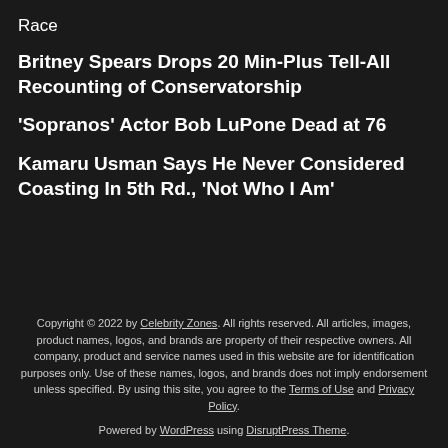Race
Britney Spears Drops 20 Min-Plus Tell-All Recounting of Conservatorship
'Sopranos' Actor Bob LuPone Dead at 76
Kamaru Usman Says He Never Considered Coasting In 5th Rd., 'Not Who I Am'
Copyright © 2022 by Celebrity Zones. All rights reserved. All articles, images, product names, logos, and brands are property of their respective owners. All company, product and service names used in this website are for identification purposes only. Use of these names, logos, and brands does not imply endorsement unless specified. By using this site, you agree to the Terms of Use and Privacy Policy.
Powered by WordPress using DisruptPress Theme.